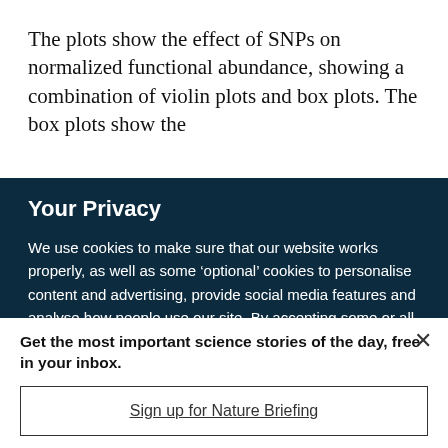The plots show the effect of SNPs on normalized functional abundance, showing a combination of violin plots and box plots. The box plots show the
Your Privacy
We use cookies to make sure that our website works properly, as well as some ‘optional’ cookies to personalise content and advertising, provide social media features and analyse how people use our site. By accepting some or all optional cookies you give consent to the processing of your personal data, including transfer to third parties, some in countries outside of the European Economic Area that do not offer the same data protection standards as the country where you live. You can decide which optional cookies to accept by clicking on ‘Manage Settings’, where you can
Get the most important science stories of the day, free in your inbox.
Sign up for Nature Briefing